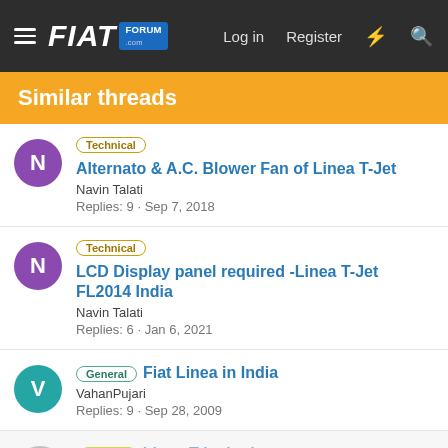FIAT FORUM - Log in  Register
Similar threads
Technical  Alternato & A.C. Blower Fan of Linea T-Jet
Navin Talati
Replies: 9 · Sep 7, 2018
Technical  LCD Display panel required -Linea T-Jet FL2014 India
Navin Talati
Replies: 6 · Jan 6, 2021
General  Fiat Linea in India
VahanPujari
Replies: 9 · Sep 28, 2009
Styling  Linea T-jet badge
wegi
Replies: 3 · Mar 22, 201…